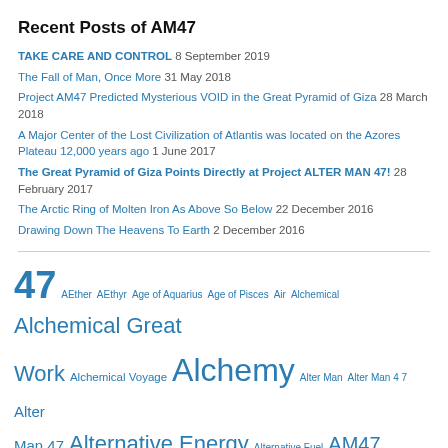Recent Posts of AM47
TAKE CARE AND CONTROL 8 September 2019
The Fall of Man, Once More 31 May 2018
Project AM47 Predicted Mysterious VOID in the Great Pyramid of Giza 28 March 2018
A Major Center of the Lost Civilization of Atlantis was located on the Azores Plateau 12,000 years ago 1 June 2017
The Great Pyramid of Giza Points Directly at Project ALTER MAN 47! 28 February 2017
The Arctic Ring of Molten Iron As Above So Below 22 December 2016
Drawing Down The Heavens To Earth 2 December 2016
47 AEther AEthyr Age of Aquarius Age of Pisces Air Alchemical Alchemical Great Work Alchemical Voyage Alchemy Alter Man Alter Man 4 7 Alter Man 47 Alternative Energy Alternative Fuel AM47